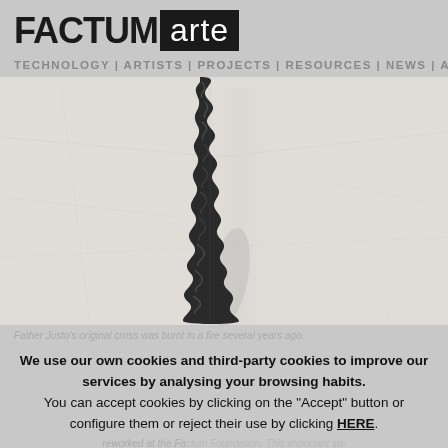FACTUM arte
TECHNOLOGY | ARTISTS | PROJECTS | RESOURCES | NEWS | ABO...
[Figure (photo): Close-up photo of a dark textured cross-like artifact or relief sculpture against a light wrinkled fabric/paper background, in black and white]
Father Justo's original cross was burnt in a fire several years ago.
We use our own cookies and third-party cookies to improve our services by analysing your browsing habits. You can accept cookies by clicking on the "Accept" button or configure them or reject their use by clicking HERE.
reworked at the Factum Foundation. This important ste...
ACCEPT